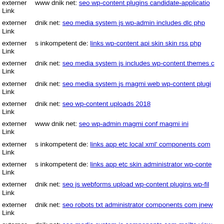externer Link  www dnik net: seo wp-content plugins candidate-application (truncated)
externer Link  dnik net: seo media system js wp-admin includes dlc php
externer Link  s inkompetent de: links wp-content api skin skin rss php
externer Link  dnik net: seo media system js includes wp-content themes c (truncated)
externer Link  dnik net: seo media system js magmi web wp-content plugi (truncated)
externer Link  dnik net: seo wp-content uploads 2018
externer Link  www dnik net: seo wp-admin magmi conf magmi ini
externer Link  s inkompetent de: links app etc local xml' components com (truncated)
externer Link  s inkompetent de: links app etc skin administrator wp-conte (truncated)
externer Link  dnik net: seo js webforms upload wp-content plugins wp-fil (truncated)
externer Link  dnik net: seo robots txt administrator components com jnew (truncated)
externer Link  dnik net: seo media system js components com mailto view (truncated)